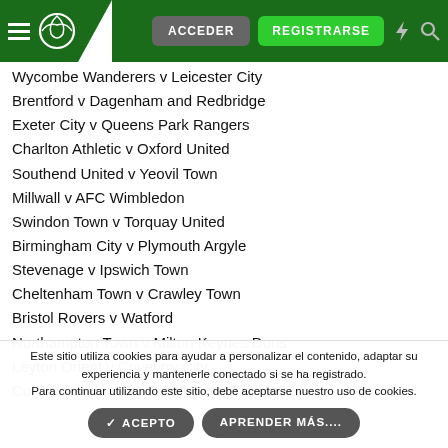ACCEDER  REGISTRARSE
Wycombe Wanderers v Leicester City
Brentford v Dagenham and Redbridge
Exeter City v Queens Park Rangers
Charlton Athletic v Oxford United
Southend United v Yeovil Town
Millwall v AFC Wimbledon
Swindon Town v Torquay United
Birmingham City v Plymouth Argyle
Stevenage v Ipswich Town
Cheltenham Town v Crawley Town
Bristol Rovers v Watford
Northampton Town v Milton Keynes Dons
Leyton Orient v Coventry City
Colchester United v Peterborough United
Este sitio utiliza cookies para ayudar a personalizar el contenido, adaptar su experiencia y mantenerle conectado si se ha registrado.
Para continuar utilizando este sitio, debe aceptarse nuestro uso de cookies.
✓ ACEPTO   APRENDER MÁS....